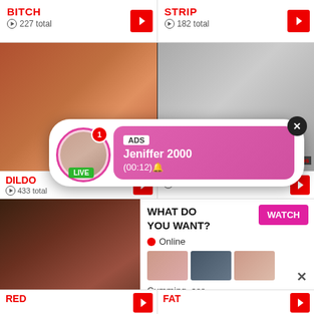BITCH
227 total
STRIP
182 total
[Figure (screenshot): Adult video thumbnail - left panel]
[Figure (screenshot): Adult video thumbnail - right panel]
[Figure (screenshot): Popup ad with avatar: ADS - Jeniffer 2000 (00:12) with LIVE badge]
DILDO
433 total
128 total
[Figure (screenshot): Bottom advertisement banner: WHAT DO YOU WANT? WATCH button, Online indicator, thumbnails, Cumming, ass fucking, squirt or... ADS]
RED
FAT